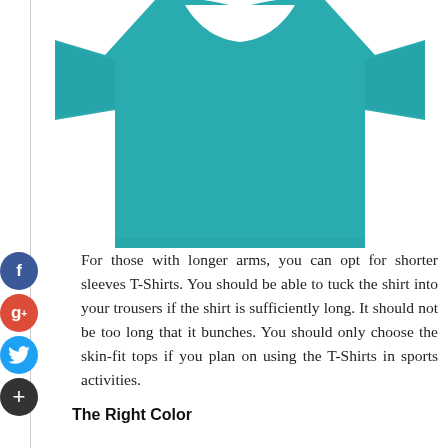[Figure (photo): A teal/turquoise plain T-shirt displayed flat against a white background, showing short sleeves and the upper body portion.]
For those with longer arms, you can opt for shorter sleeves T-Shirts. You should be able to tuck the shirt into your trousers if the shirt is sufficiently long. It should not be too long that it bunches. You should only choose the skin-fit tops if you plan on using the T-Shirts in sports activities.
The Right Color